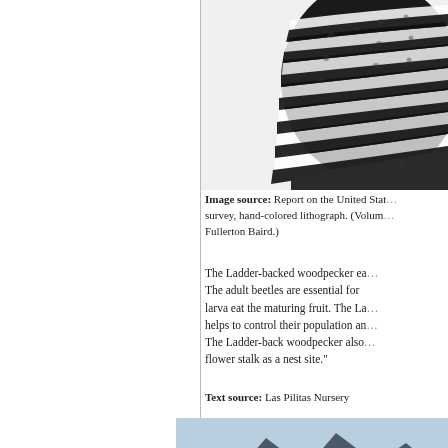[Figure (photo): Close-up black and white photograph of a Ladder-backed woodpecker showing distinctive barred feather pattern on wings/back, bird partially visible cropped at right side of image]
D W
Image source: Report on the United States survey, hand-colored lithograph. (Volume Fullerton Baird.)
The Ladder-backed woodpecker eats... The adult beetles are essential for ... larva eat the maturing fruit. The La... helps to control their population an... The Ladder-back woodpecker also... flower stalk as a nest site."
Text source: Las Pilitas Nursery
[Figure (photo): Landscape photograph showing mountain range with blue sky, partial view at bottom of page]